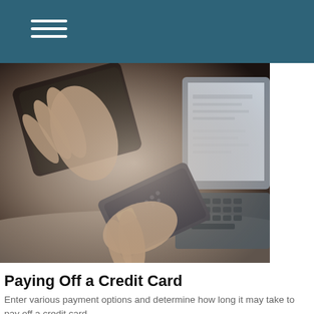[Figure (photo): A person holding a credit card in one hand and a wallet/tablet case in the other, with a laptop keyboard visible in the background. The image is close-up and slightly blurred, showing hands engaged in an online payment activity.]
Paying Off a Credit Card
Enter various payment options and determine how long it may take to pay off a credit card.